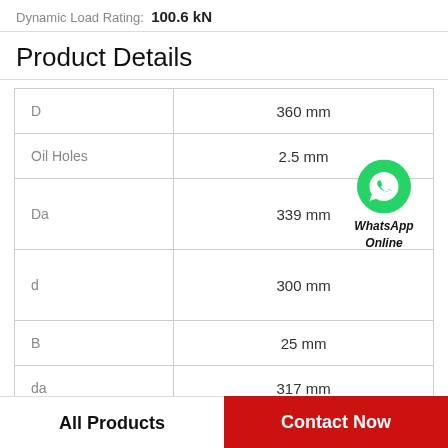Dynamic Load Rating: 100.6 kN
Product Details
|  |  |
| --- | --- |
| D | 360 mm |
| Oil Holes | 2.5 mm |
| Da | 339 mm |
| d | 300 mm |
| B | 25 mm |
| da | 317 mm |
| Radius | 2.5 |
[Figure (logo): WhatsApp Online logo with green phone icon and bold italic text 'WhatsApp Online']
All Products
Contact Now